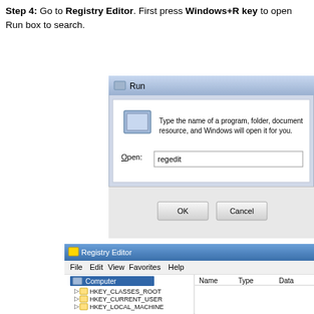Step 4: Go to Registry Editor. First press Windows+R key to open Run box to search.
[Figure (screenshot): Windows Run dialog box with 'regedit' typed in the Open field, showing OK and Cancel buttons]
[Figure (screenshot): Windows Registry Editor window showing Computer node expanded with HKEY_CLASSES_ROOT, HKEY_CURRENT_USER, HKEY_LOCAL_MACHINE, HKEY_USERS, HKEY_CURRENT_CONFIG keys, and Name/Type/Data columns on the right panel]